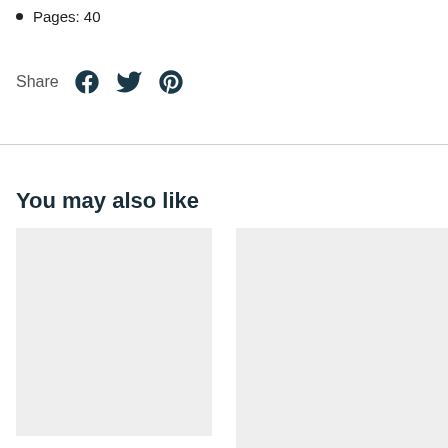Pages: 40
Share
You may also like
[Figure (other): Placeholder thumbnail image (light grey rectangle), left]
[Figure (other): Placeholder thumbnail image (light grey rectangle), right]